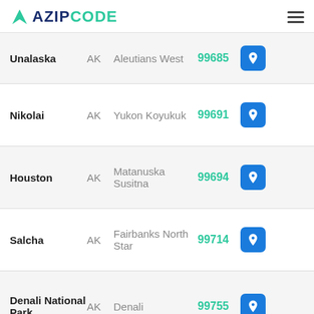AZIPCODE
| City | State | County | ZIP |  |
| --- | --- | --- | --- | --- |
| Unalaska | AK | Aleutians West | 99685 |  |
| Nikolai | AK | Yukon Koyukuk | 99691 |  |
| Houston | AK | Matanuska Susitna | 99694 |  |
| Salcha | AK | Fairbanks North Star | 99714 |  |
| Denali National Park | AK | Denali | 99755 |  |